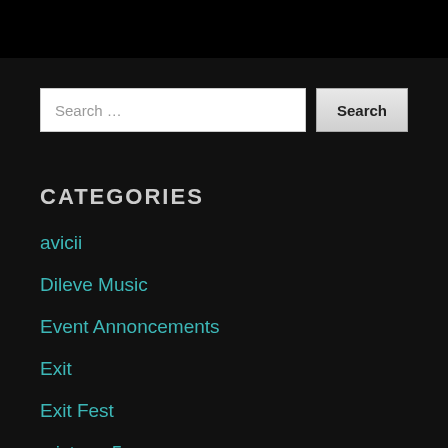Search ...
CATEGORIES
avicii
Dileve Music
Event Annoncements
Exit
Exit Fest
mixtape 5
onsale